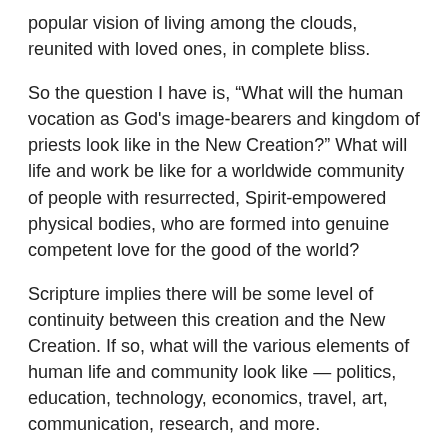popular vision of living among the clouds, reunited with loved ones, in complete bliss.
So the question I have is, “What will the human vocation as God's image-bearers and kingdom of priests look like in the New Creation?” What will life and work be like for a worldwide community of people with resurrected, Spirit-empowered physical bodies, who are formed into genuine competent love for the good of the world?
Scripture implies there will be some level of continuity between this creation and the New Creation. If so, what will the various elements of human life and community look like — politics, education, technology, economics, travel, art, communication, research, and more.
I realize this is absolute assumption on my part. And I’m not trying to speculate about some “sci-fi” utopia. Rather, I